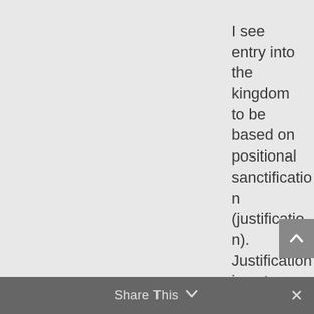I see entry into the kingdom to be based on positional sanctification (justification). Justification is not earned. All believers, being
Share This ∨ ✕